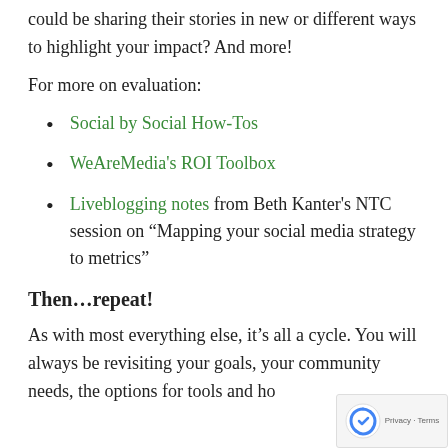could be sharing their stories in new or different ways to highlight your impact? And more!
For more on evaluation:
Social by Social How-Tos
WeAreMedia's ROI Toolbox
Liveblogging notes from Beth Kanter's NTC session on “Mapping your social media strategy to metrics”
Then…repeat!
As with most everything else, it’s all a cycle. You will always be revisiting your goals, your community needs, the options for tools and ho…